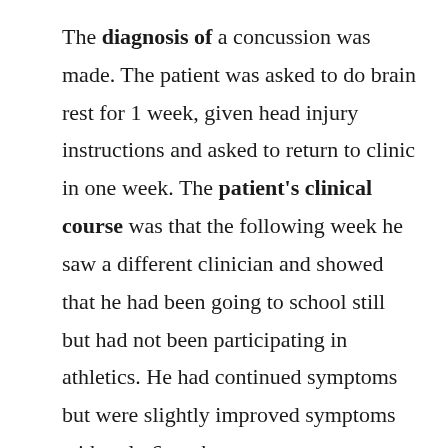The diagnosis of a concussion was made. The patient was asked to do brain rest for 1 week, given head injury instructions and asked to return to clinic in one week. The patient's clinical course was that the following week he saw a different clinician and showed that he had been going to school still but had not been participating in athletics. He had continued symptoms but were slightly improved symptoms with only 6 on the sports assessment tool but headache and tiredness were his main complaints. He denied any vision problems. On physical examination he had a right pupil that was 3-4 mm and a left pupil that was 2-3 mm in size. Both were round, reactive to light and accommodation. All extra ocular movements were intact. There was no increased lacrimation and his disc